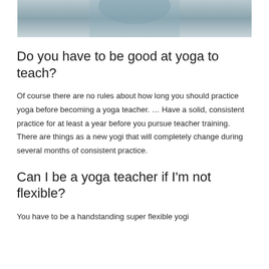[Figure (photo): Partial photo of a person wearing a dark blue top, visible from shoulders up, with a microphone or device near their neck, indoors with a plant in the background.]
Do you have to be good at yoga to teach?
Of course there are no rules about how long you should practice yoga before becoming a yoga teacher. … Have a solid, consistent practice for at least a year before you pursue teacher training. There are things as a new yogi that will completely change during several months of consistent practice.
Can I be a yoga teacher if I'm not flexible?
You have to be a handstanding super flexible yogi